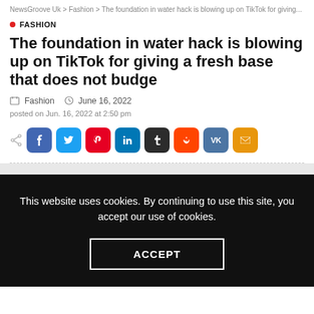NewsGroove Uk > Fashion > The foundation in water hack is blowing up on TikTok for giving...
FASHION
The foundation in water hack is blowing up on TikTok for giving a fresh base that does not budge
Fashion   June 16, 2022
posted on Jun. 16, 2022 at 2:50 pm
Share buttons: Facebook, Twitter, Pinterest, LinkedIn, Tumblr, Reddit, VK, Email
This website uses cookies. By continuing to use this site, you accept our use of cookies.
ACCEPT